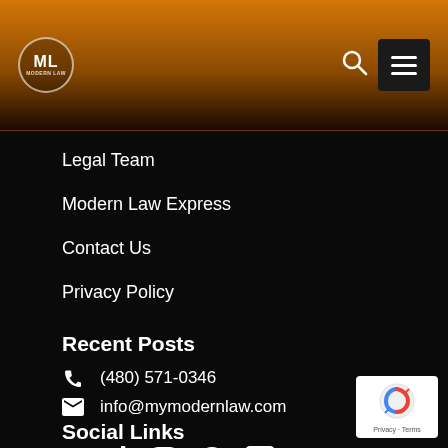[Figure (logo): Modern Law ML logo circle in orange gradient header with search icon and hamburger menu]
Legal Team
Modern Law Express
Contact Us
Privacy Policy
Recent Posts
(480) 571-0346
info@mymodernlaw.com
Social Links
[Figure (illustration): Social media icons: YouTube, TikTok, Instagram, Facebook, LinkedIn]
[Figure (logo): Google reCAPTCHA badge in bottom right corner with Privacy and Terms links]